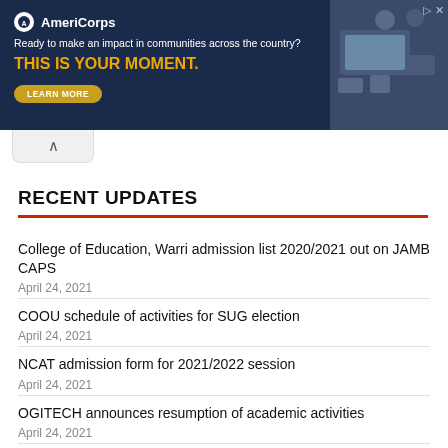[Figure (infographic): AmeriCorps advertisement banner with dark navy background. Logo at top-left, tagline 'Ready to make an impact in communities across the country?', headline 'THIS IS YOUR MOMENT.' in gold, and a 'LEARN MORE' button. Photo of people at computers on the right side.]
RECENT UPDATES
College of Education, Warri admission list 2020/2021 out on JAMB CAPS
April 24, 2021
COOU schedule of activities for SUG election
April 24, 2021
NCAT admission form for 2021/2022 session
April 24, 2021
OGITECH announces resumption of academic activities
April 24, 2021